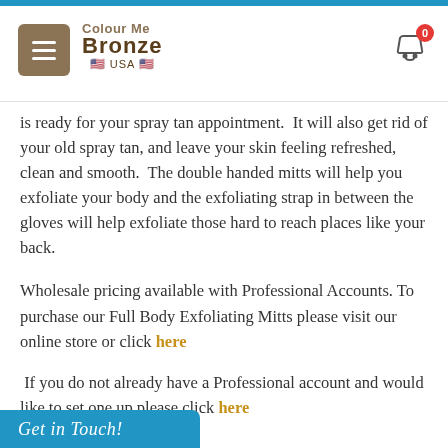Colour Me Bronze USA — navigation header with menu and cart
is ready for your spray tan appointment.  It will also get rid of your old spray tan, and leave your skin feeling refreshed, clean and smooth.  The double handed mitts will help you exfoliate your body and the exfoliating strap in between the gloves will help exfoliate those hard to reach places like your back.
Wholesale pricing available with Professional Accounts. To purchase our Full Body Exfoliating Mitts please visit our online store or click here
If you do not already have a Professional account and would like to set one up please click here
Get in Touch!